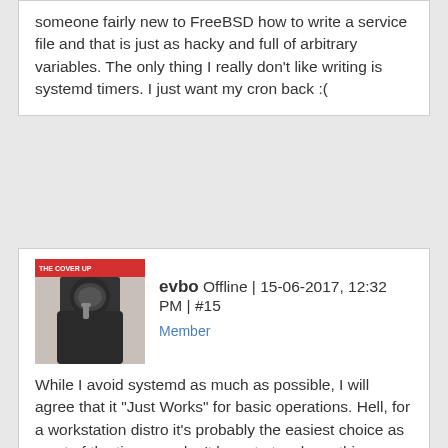someone fairly new to FreeBSD how to write a service file and that is just as hacky and full of arbitrary variables. The only thing I really don't like writing is systemd timers. I just want my cron back :(
evbo Offline | 15-06-2017, 12:32 PM | #15
Member
While I avoid systemd as much as possible, I will agree that it "Just Works" for basic operations. Hell, for a workstation distro it's probably the easiest choice as most of the time you don't have to touch anything.

The problems I have are usually server-level, with things like systemd-resolved and those awful binary logs. Though I'm slowly moving my servers and personal apps to OpenBSD or